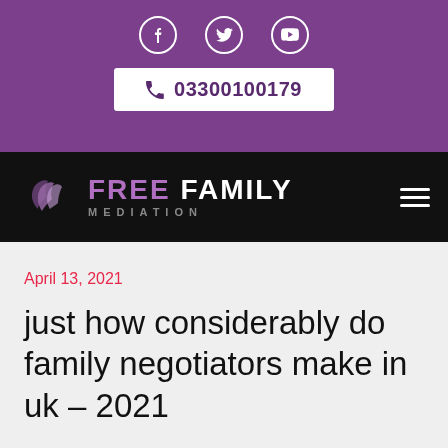Social icons: Facebook, Twitter, YouTube | Phone: 03300100179
[Figure (logo): Free Family Mediation logo with stylized hands graphic, on black navigation bar with hamburger menu icon]
April 13, 2021
just how considerably do family negotiators make in uk – 2021